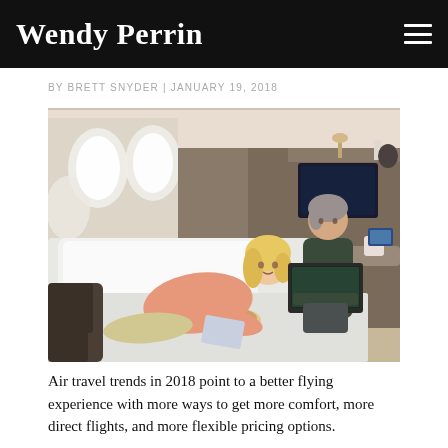Wendy Perrin
BY BRETT SNYDER | JANUARY 19, 2018
[Figure (photo): Luxury airline first class cabin interior showing a woman reading on a flat bed and a man working on a laptop at a desk, warm beige tones]
Air travel trends in 2018 point to a better flying experience with more ways to get more comfort, more direct flights, and more flexible pricing options.